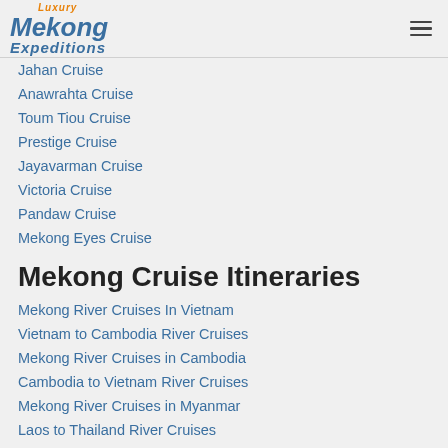Luxury Mekong Expeditions
Jahan Cruise
Anawrahta Cruise
Toum Tiou Cruise
Prestige Cruise
Jayavarman Cruise
Victoria Cruise
Pandaw Cruise
Mekong Eyes Cruise
Mekong Cruise Itineraries
Mekong River Cruises In Vietnam
Vietnam to Cambodia River Cruises
Mekong River Cruises in Cambodia
Cambodia to Vietnam River Cruises
Mekong River Cruises in Myanmar
Laos to Thailand River Cruises
Mekong River Cruises in Laos